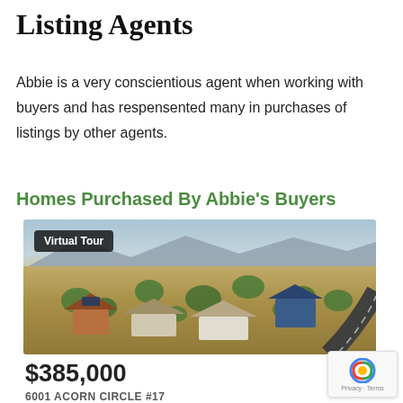Listing Agents
Abbie is a very conscientious agent when working with buyers and has respensented many in purchases of listings by other agents.
Homes Purchased By Abbie's Buyers
[Figure (photo): Aerial photo of a residential neighborhood with houses, trees, mountains, and a curved road in the background. A 'Virtual Tour' badge overlay is in the top-left corner of the image.]
$385,000
6001 ACORN CIRCLE #17